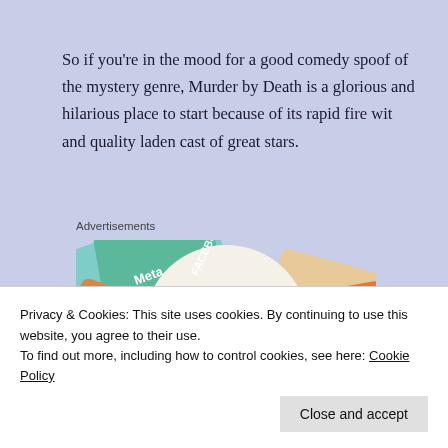So if you're in the mood for a good comedy spoof of the mystery genre, Murder by Death is a glorious and hilarious place to start because of its rapid fire wit and quality laden cast of great stars.
Advertisements
[Figure (photo): Advertisement image showing various social media and tech brand cards/labels overlapping, with a central white circle containing text 'We're the WordPress CMS for Very Important Content']
Privacy & Cookies: This site uses cookies. By continuing to use this website, you agree to their use.
To find out more, including how to control cookies, see here: Cookie Policy
Close and accept